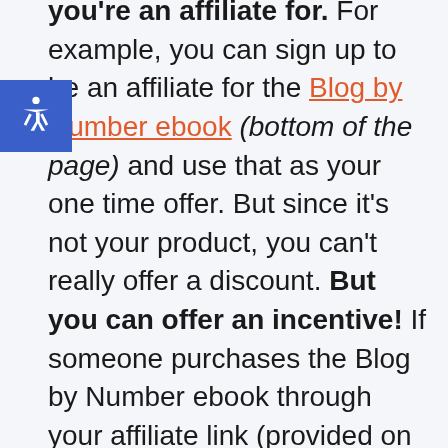reach out to the owner of a product you're an affiliate for. For example, you can sign up to be an affiliate for the Blog by Number ebook (bottom of the page) and use that as your one time offer. But since it's not your product, you can't really offer a discount. But you can offer an incentive! If someone purchases the Blog by Number ebook through your affiliate link (provided on your OTO page) you will send them an exclusive freebie, or allow them access in your Facebook group, or give them a bonus of some sort.